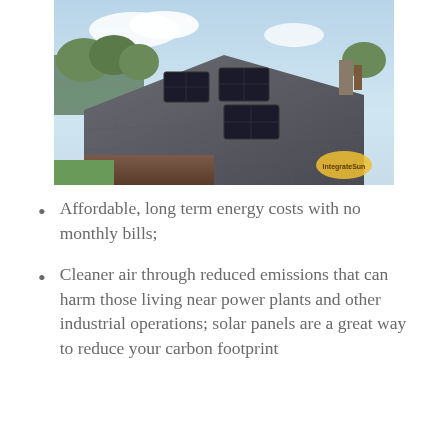[Figure (photo): Aerial/elevated view of a residential home with solar panels installed on the roof, brick exterior, suburban neighborhood with trees in background]
Affordable, long term energy costs with no monthly bills;
Cleaner air through reduced emissions that can harm those living near power plants and other industrial operations; solar panels are a great way to reduce your carbon footprint